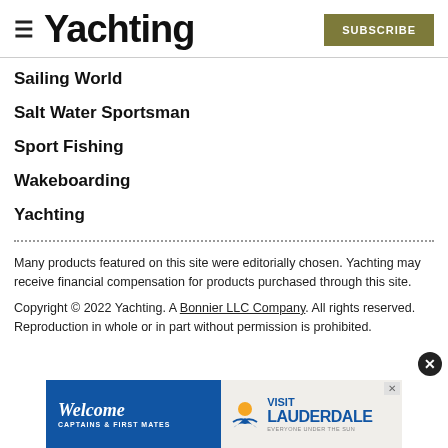Yachting | SUBSCRIBE
Sailing World
Salt Water Sportsman
Sport Fishing
Wakeboarding
Yachting
Many products featured on this site were editorially chosen. Yachting may receive financial compensation for products purchased through this site.
Copyright © 2022 Yachting. A Bonnier LLC Company. All rights reserved. Reproduction in whole or in part without permission is prohibited.
[Figure (infographic): Advertisement banner: Welcome Captains & First Mates | Visit Lauderdale - Everyone Under the Sun, with a sun/water logo]